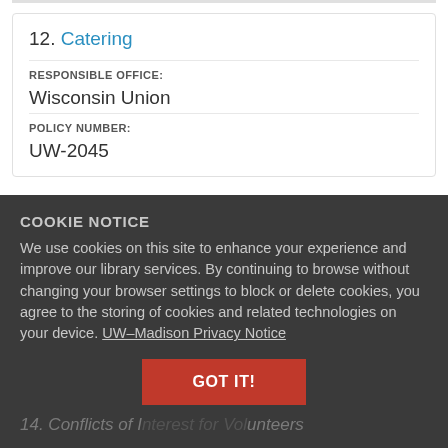12. Catering
RESPONSIBLE OFFICE:
Wisconsin Union
POLICY NUMBER:
UW-2045
COOKIE NOTICE
We use cookies on this site to enhance your experience and improve our library services. By continuing to browse without changing your browser settings to block or delete cookies, you agree to the storing of cookies and related technologies on your device. UW–Madison Privacy Notice
GOT IT!
14. Conflicts of Interest for Volunteers